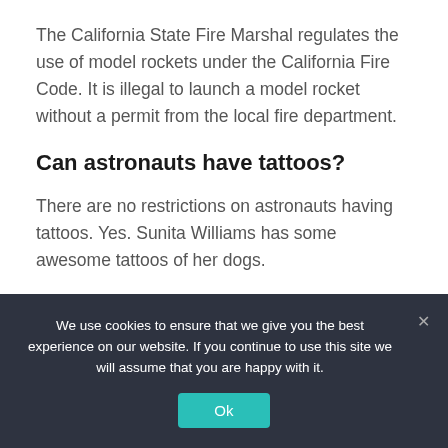The California State Fire Marshal regulates the use of model rockets under the California Fire Code. It is illegal to launch a model rocket without a permit from the local fire department.
Can astronauts have tattoos?
There are no restrictions on astronauts having tattoos. Yes. Sunita Williams has some awesome tattoos of her dogs.
We use cookies to ensure that we give you the best experience on our website. If you continue to use this site we will assume that you are happy with it.